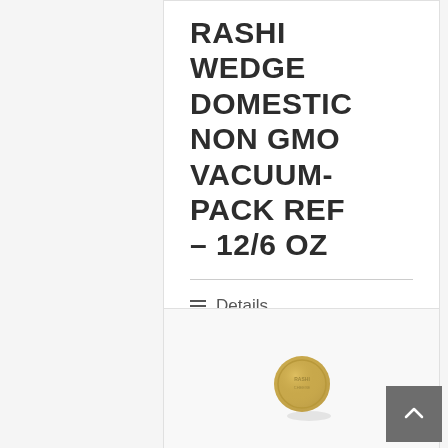RASHI WEDGE DOMESTIC NON GMO VACUUM-PACK REF – 12/6 OZ
Details
[Figure (photo): Small round golden cheese coin/disc on a white background]
CHEESE,